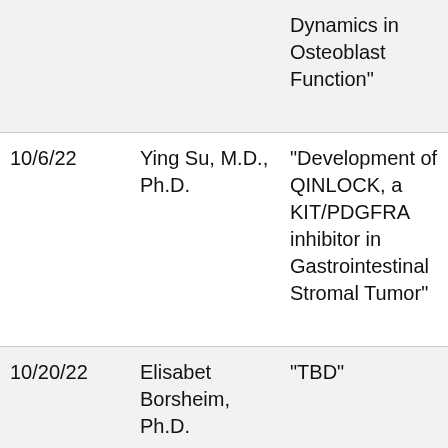| Date | Speaker | Title | Affiliation |
| --- | --- | --- | --- |
|  |  | Dynamics in Osteoblast Function" | Mec
Cen
Res
Inst |
| 10/6/22 | Ying Su, M.D., Ph.D. | "Development of QINLOCK, a KIT/PDGFRA inhibitor in Gastrointestinal Stromal Tumor" | Exec
Mec
Dire
Clin
Dev
Cod
Bios |
| 10/20/22 | Elisabet Borsheim, Ph.D. | "TBD" | Asso
Dire
Prof
Dep
Ped |